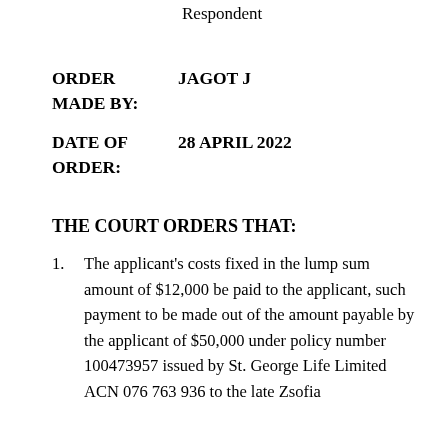AND:    GUSZTAV SELENASI
    Respondent
ORDER MADE BY:    JAGOT J
DATE OF ORDER:    28 APRIL 2022
THE COURT ORDERS THAT:
1.    The applicant's costs fixed in the lump sum amount of $12,000 be paid to the applicant, such payment to be made out of the amount payable by the applicant of $50,000 under policy number 100473957 issued by St. George Life Limited ACN 076 763 936 to the late Zsofia